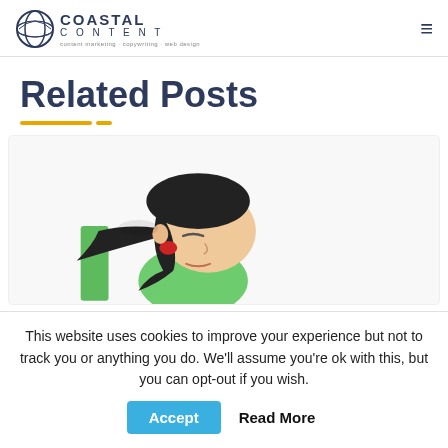Coastal Content
Related Posts
[Figure (illustration): Illustration of a cartoon person with black hair in a ponytail, wearing a green top, appearing to lean or bang their head against a green wall/surface, with red hair tie visible. Character is rendered in a flat cartoon style.]
This website uses cookies to improve your experience but not to track you or anything you do. We'll assume you're ok with this, but you can opt-out if you wish.